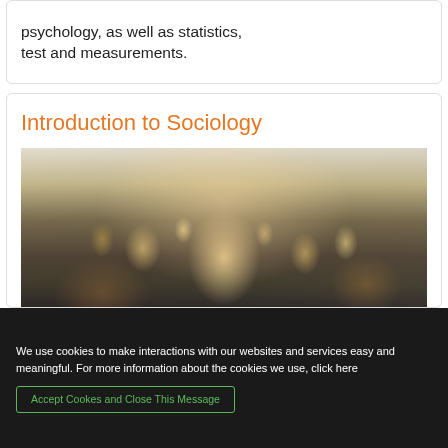psychology, as well as statistics, test and measurements.
Introduction to Sociology
[Figure (photo): A large crowd of people walking on a busy street, photographed from behind/slightly above, with one person facing the camera in the middle distance. Urban setting, bokeh background.]
We use cookies to make interactions with our websites and services easy and meaningful. For more information about the cookies we use, click here
Accept Cookes and Close This Message